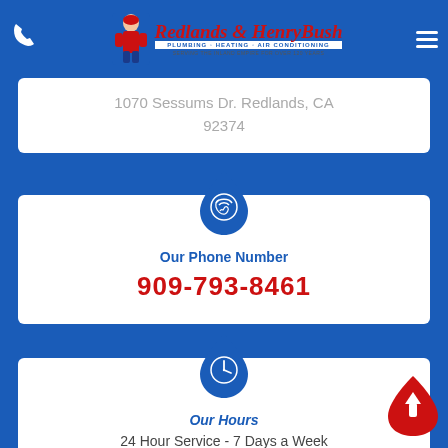[Figure (logo): Redlands & Henry Bush Plumbing Heating Air Conditioning logo with mascot plumber character, red cursive text on blue background header]
1070 Sessums Dr. Redlands, CA 92374
[Figure (infographic): Blue teardrop/water drop shape icon containing a phone/call icon representing contact phone number section]
Our Phone Number
909-793-8461
[Figure (infographic): Blue teardrop/water drop shape icon containing a clock icon representing hours section]
Our Hours
24 Hour Service - 7 Days a Week